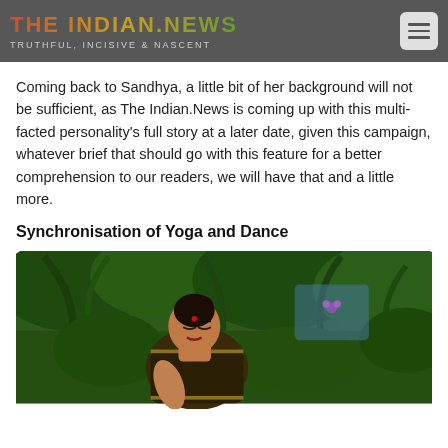THE INDIAN.NEWS — TRUTHFUL, INCISIVE & NASCENT
Coming back to Sandhya, a little bit of her background will not be sufficient, as The Indian.News is coming up with this multi-facted personality's full story at a later date, given this campaign, whatever brief that should go with this feature for a better comprehension to our readers, we will have that and a little more.
Synchronisation of Yoga and Dance
[Figure (photo): A woman in a golden-black saree in a yoga/dance pose, seated outdoors among lush green tropical plants and palm leaves, with a red bindi on her forehead, looking downward.]